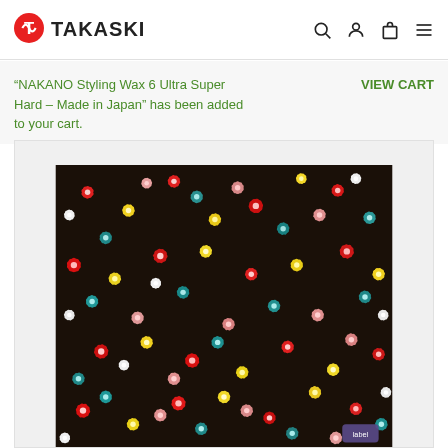TAKASKI
“NAKANO Styling Wax 6 Ultra Super Hard – Made in Japan” has been added to your cart.   VIEW CART
[Figure (photo): Product image showing a dark background fabric or wrapping paper covered with colorful small sakura/cherry blossom flowers in red, yellow, teal, pink, white, and purple colors arranged densely across the surface. A small purple label appears in the bottom right corner.]